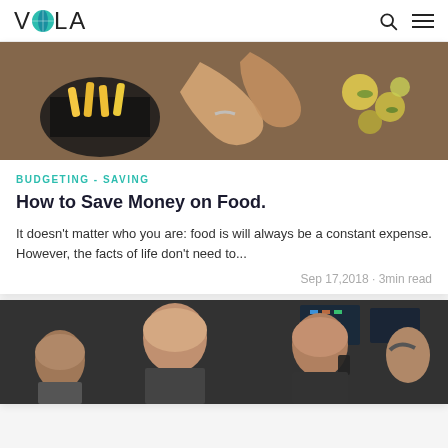VOLA
[Figure (photo): Overhead view of hands handling food — chips/fries in a pan and flower-shaped appetizers on a wooden table]
BUDGETING - SAVING
How to Save Money on Food.
It doesn't matter who you are: food is will always be a constant expense. However, the facts of life don't need to...
Sep 17,2018 · 3min read
[Figure (photo): Stock traders on a trading floor looking stressed, men in suits with one holding a phone to his ear]